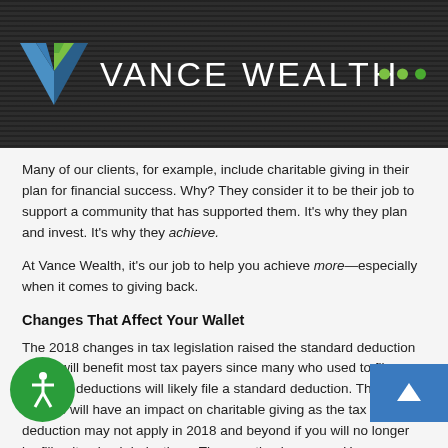VANCE WEALTH
Many of our clients, for example, include charitable giving in their plan for financial success. Why? They consider it to be their job to support a community that has supported them. It’s why they plan and invest. It’s why they achieve.
At Vance Wealth, it’s our job to help you achieve more—especially when it comes to giving back.
Changes That Affect Your Wallet
The 2018 changes in tax legislation raised the standard deduction which will benefit most tax payers since many who used to file itemized deductions will likely file a standard deduction. This change will have an impact on charitable giving as the tax deduction may not apply in 2018 and beyond if you will no longer be filing itemized deductions. The question becomes: How can